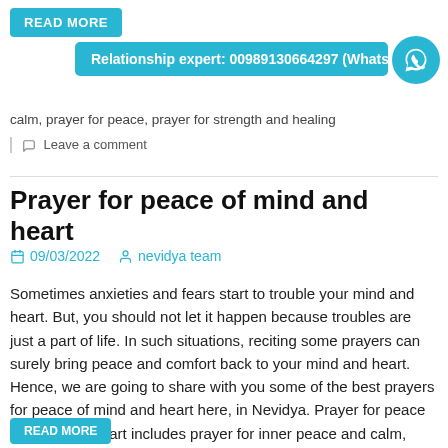READ MORE
Relationship expert: 00989130664297 (WhatsApp)
calm, prayer for peace, prayer for strength and healing
Leave a comment
Prayer for peace of mind and heart
09/03/2022   nevidya team
Sometimes anxieties and fears start to trouble your mind and heart. But, you should not let it happen because troubles are just a part of life. In such situations, reciting some prayers can surely bring peace and comfort back to your mind and heart. Hence, we are going to share with you some of the best prayers for peace of mind and heart here, in Nevidya. Prayer for peace of mind and heart includes prayer for inner peace and calm, prayer for peace and healing, prayer to stop worrying, and...
READ MORE